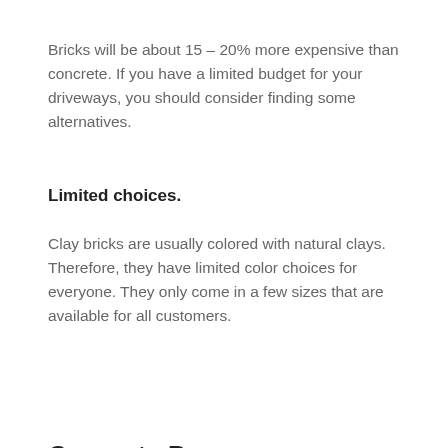Bricks will be about 15 – 20% more expensive than concrete. If you have a limited budget for your driveways, you should consider finding some alternatives.
Limited choices.
Clay bricks are usually colored with natural clays. Therefore, they have limited color choices for everyone. They only come in a few sizes that are available for all customers.
Concrete Pavers